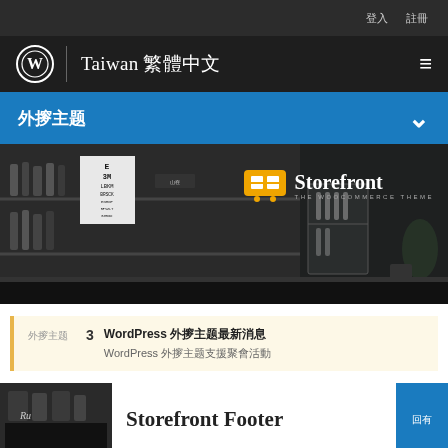登入 註冊
Taiwan 繁體中文
外掛主題
[Figure (photo): Black and white photo of a bar/store interior with bottles and shelves. Storefront WooCommerce theme logo badge in upper right.]
外掛主題  3  WordPress 外掛主題最新消息
WordPress 外掛主題支援聚會活動
Storefront Footer
回應